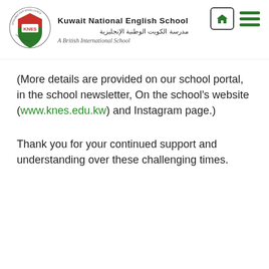Kuwait National English School | مدرسة الكويت الوطنية الإنجليزية | A British International School
(More details are provided on our school portal, in the school newsletter, On the school's website (www.knes.edu.kw) and Instagram page.)
Thank you for your continued support and understanding over these challenging times.